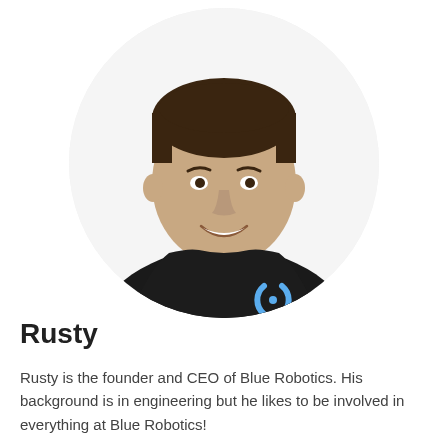[Figure (photo): Circular cropped headshot of a young man smiling, wearing a black t-shirt with a blue Blue Robotics logo on the chest, against a white background.]
Rusty
Rusty is the founder and CEO of Blue Robotics. His background is in engineering but he likes to be involved in everything at Blue Robotics!